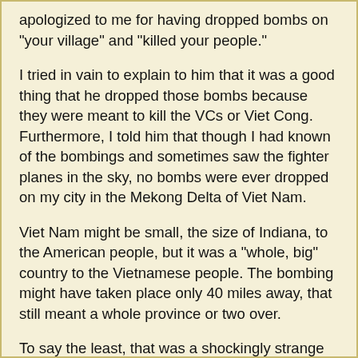apologized to me for having dropped bombs on "your village" and "killed your people."
I tried in vain to explain to him that it was a good thing that he dropped those bombs because they were meant to kill the VCs or Viet Cong. Furthermore, I told him that though I had known of the bombings and sometimes saw the fighter planes in the sky, no bombs were ever dropped on my city in the Mekong Delta of Viet Nam.
Viet Nam might be small, the size of Indiana, to the American people, but it was a "whole, big" country to the Vietnamese people. The bombing might have taken place only 40 miles away, that still meant a whole province or two over.
To say the least, that was a shockingly strange encounter for a newly arrived immigrant.
Not until two years later that I fully comprehended the above experience. The family that I lived with as an unaccompanied-minor had moved to the suburbs outside